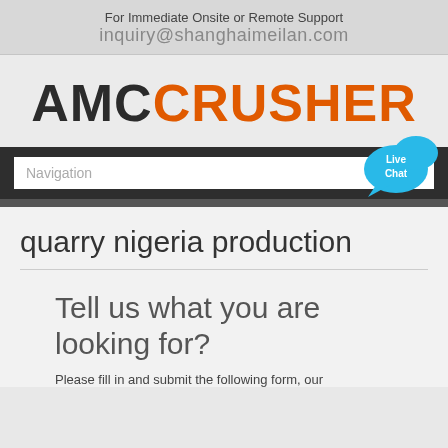For Immediate Onsite or Remote Support
inquiry@shanghaimeilan.com
[Figure (logo): AMC Crusher logo with AMC in dark gray and CRUSHER in orange]
Navigation
quarry nigeria production
Tell us what you are looking for?
Please fill in and submit the following form, our